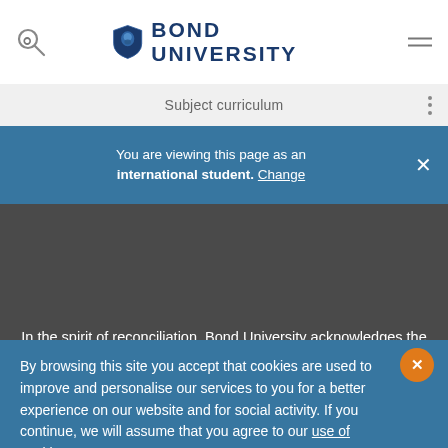Bond University — Subject curriculum
You are viewing this page as an international student. Change
In the spirit of reconciliation, Bond University acknowledges the Kombumerri people, the traditional Owners and Custodians of the land on which the university now stands. We pay respect to Elders past, present and emerging. Read...
By browsing this site you accept that cookies are used to improve and personalise our services to you for a better experience on our website and for social activity. If you continue, we will assume that you agree to our use of cookies statement.